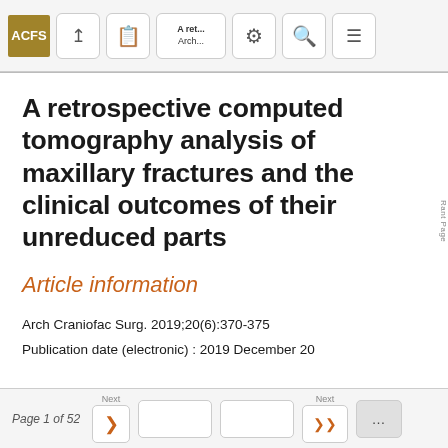[Figure (screenshot): Top navigation bar with ACFS logo, share button, PDF button, title abbreviation button, settings button, search button, and menu button]
A retrospective computed tomography analysis of maxillary fractures and the clinical outcomes of their unreduced parts
Article information
Arch Craniofac Surg. 2019;20(6):370-375
Publication date (electronic) : 2019 December 20
Page 1 of 52